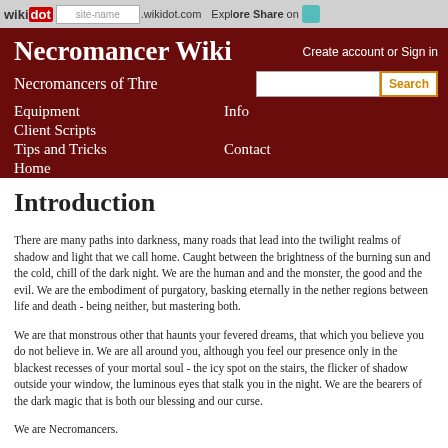wikidot | site-name .wikidot.com | Explore Share on [Twitter]
Necromancer Wiki
Create account or Sign in
Necromancers of Thre
Equipment   Info   Client Scripts   Tips and Tricks   Contact   Home
Introduction
There are many paths into darkness, many roads that lead into the twilight realms of shadow and light that we call home. Caught between the brightness of the burning sun and the cold, chill of the dark night. We are the human and and the monster, the good and the evil. We are the embodiment of purgatory, basking eternally in the nether regions between life and death - being neither, but mastering both.
We are that monstrous other that haunts your fevered dreams, that which you believe you do not believe in. We are all around you, although you feel our presence only in the blackest recesses of your mortal soul - the icy spot on the stairs, the flicker of shadow outside your window, the luminous eyes that stalk you in the night. We are the bearers of the dark magic that is both our blessing and our curse.
We are Necromancers.